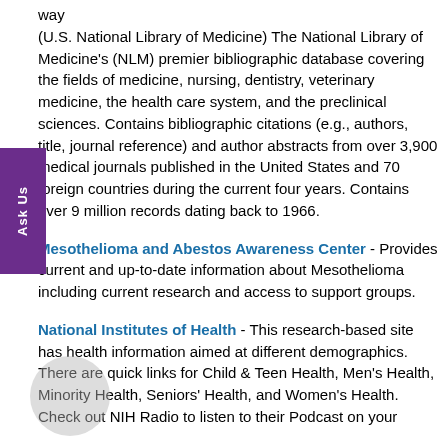way
(U.S. National Library of Medicine) The National Library of Medicine's (NLM) premier bibliographic database covering the fields of medicine, nursing, dentistry, veterinary medicine, the health care system, and the preclinical sciences. Contains bibliographic citations (e.g., authors, title, journal reference) and author abstracts from over 3,900 medical journals published in the United States and 70 foreign countries during the current four years. Contains over 9 million records dating back to 1966.
Mesothelioma and Abestos Awareness Center - Provides current and up-to-date information about Mesothelioma including current research and access to support groups.
National Institutes of Health - This research-based site has health information aimed at different demographics. There are quick links for Child & Teen Health, Men's Health, Minority Health, Seniors' Health, and Women's Health. Check out NIH Radio to listen to their Podcast on your